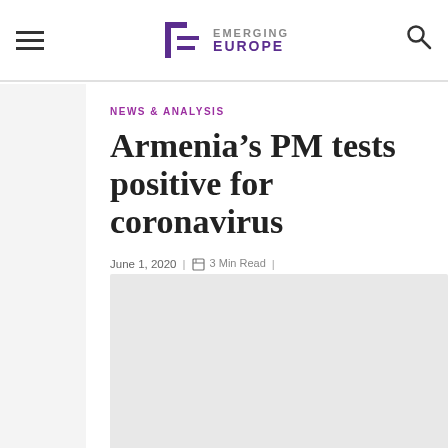Emerging Europe — site header with navigation
NEWS & ANALYSIS
Armenia's PM tests positive for coronavirus
June 1, 2020  |  3 Min Read  |  Emerging Europe Staff
[Figure (photo): Article featured image placeholder (light grey rectangle)]